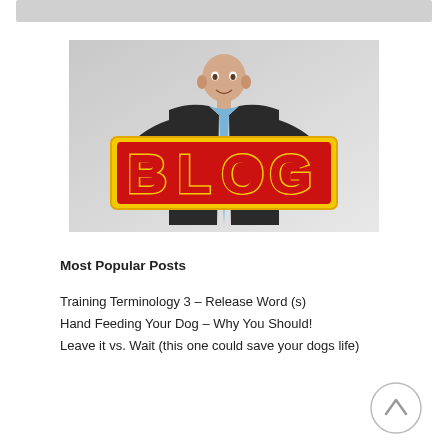[Figure (photo): A man holding a large 'BLOG' sign with red letters and yellow outline, photographed against a gray background.]
Most Popular Posts
Training Terminology 3 – Release Word (s)
Hand Feeding Your Dog – Why You Should!
Leave it vs. Wait (this one could save your dogs life)